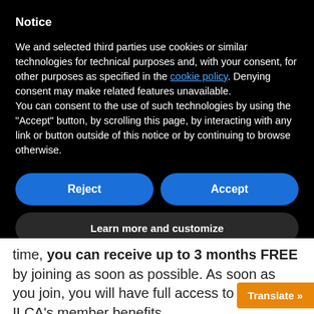Notice
We and selected third parties use cookies or similar technologies for technical purposes and, with your consent, for other purposes as specified in the cookie policy. Denying consent may make related features unavailable.
You can consent to the use of such technologies by using the "Accept" button, by scrolling this page, by interacting with any link or button outside of this notice or by continuing to browse otherwise.
Reject
Accept
Learn more and customize
time, you can receive up to 3 months FREE by joining as soon as possible. As soon as you join, you will have full access to all of ILCA's member benefits.
Translate »